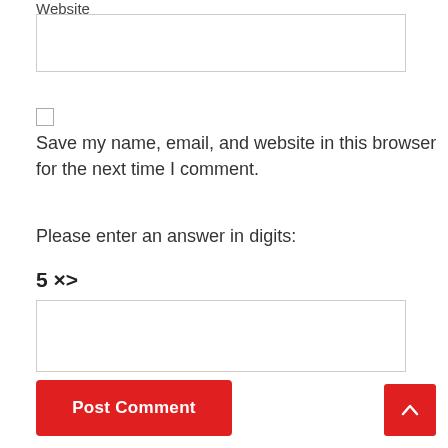Website
Save my name, email, and website in this browser for the next time I comment.
Please enter an answer in digits:
Post Comment